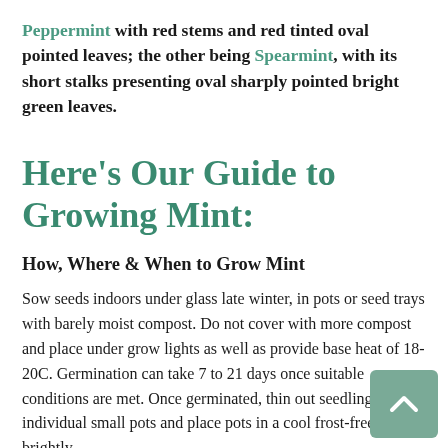Peppermint with red stems and red tinted oval pointed leaves; the other being Spearmint, with its short stalks presenting oval sharply pointed bright green leaves.
Here's Our Guide to Growing Mint:
How, Where & When to Grow Mint
Sow seeds indoors under glass late winter, in pots or seed trays with barely moist compost. Do not cover with more compost and place under grow lights as well as provide base heat of 18-20C. Germination can take 7 to 21 days once suitable conditions are met. Once germinated, thin out seedlings into individual small pots and place pots in a cool frost-free brightly